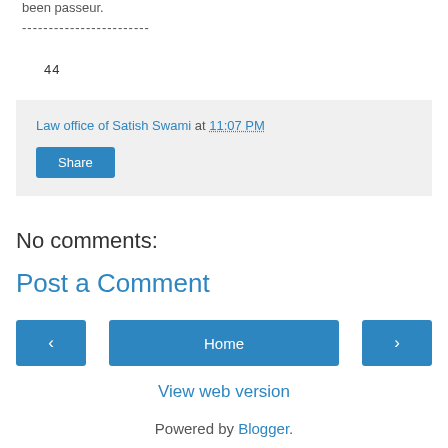been passeur.
------------------------
44
Law office of Satish Swami at 11:07 PM
Share
No comments:
Post a Comment
‹
Home
›
View web version
Powered by Blogger.